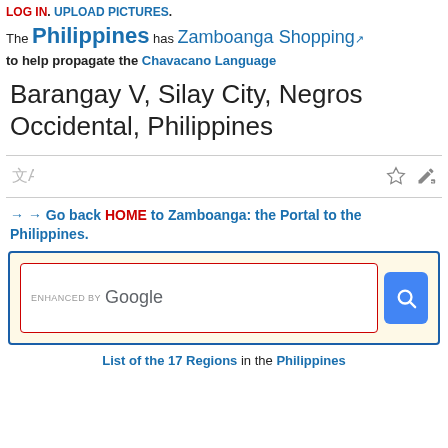LOG IN. UPLOAD PICTURES. The Philippines has Zamboanga Shopping to help propagate the Chavacano Language
Barangay V, Silay City, Negros Occidental, Philippines
→ → Go back HOME to Zamboanga: the Portal to the Philippines.
[Figure (screenshot): Google search box with 'ENHANCED BY Google' label inside a red-bordered input field, blue search button, all within a yellow-beige box with blue border]
List of the 17 Regions in the Philippines